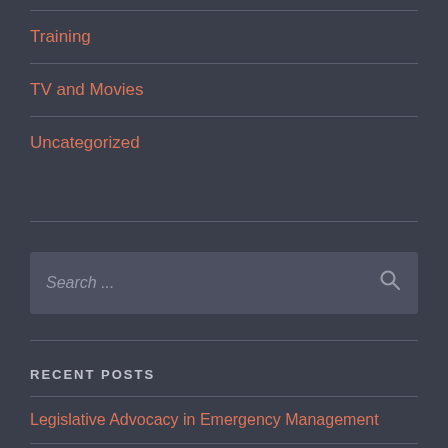Training
TV and Movies
Uncategorized
Search ...
RECENT POSTS
Legislative Advocacy in Emergency Management